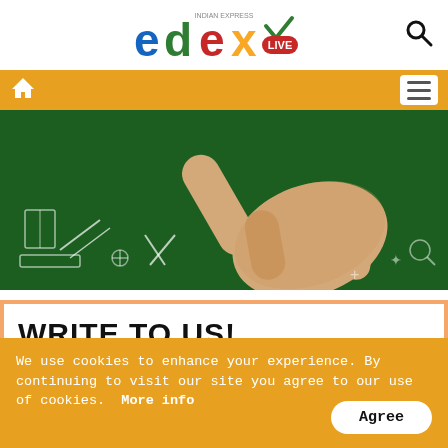[Figure (logo): Edex Live (Indian Express) logo — colorful letters e, d, e, x with LIVE badge and Indian Express text above]
[Figure (illustration): Illustration of a hand pointing with two fingers against a dark green chalkboard background covered in hand-drawn school supply doodles (pencils, scissors, rulers, etc.)]
WRITE TO US!
We use cookies to enhance your experience. By continuing to visit our site you agree to our use of cookies.  More info
Agree